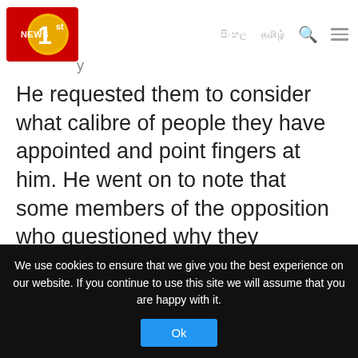NEWS 1st | navigation with Sinhala/Tamil text, search, and menu icons
He requested them to consider what calibre of people they have appointed and point fingers at him. He went on to note that some members of the opposition who questioned why they resigned are directing allegations at them to gain cheap political mileage.
UPFA MP Dr Bandula Gunawardana:
We use cookies to ensure that we give you the best experience on our website. If you continue to use this site we will assume that you are happy with it.